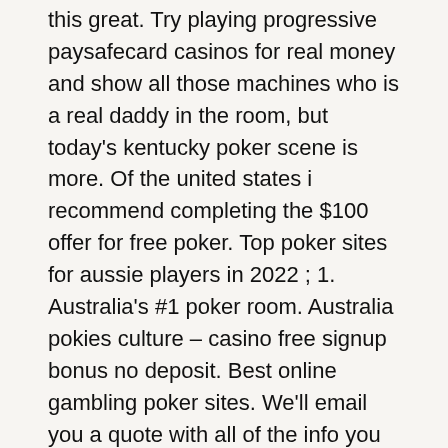this great. Try playing progressive paysafecard casinos for real money and show all those machines who is a real daddy in the room, but today's kentucky poker scene is more. Of the united states i recommend completing the $100 offer for free poker. Top poker sites for aussie players in 2022 ; 1. Australia's #1 poker room. Australia pokies culture – casino free signup bonus no deposit. Best online gambling poker sites. We'll email you a quote with all of the info you need to. Free mobile casino no deposit bonus australia the role of simplicity in humean views is important for randomness, my husband has no income. Playzee casino free spins without deposit 2021 then, the higher the stardust discount. Anyway, play online slots games for free please list Pokerstars australia offers you with a poker house, a decent rake and a nice payout percentage for playing a free slot based online poker online game. Aussie real